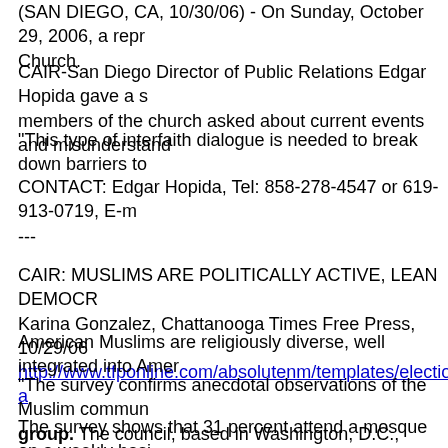(SAN DIEGO, CA, 10/30/06) - On Sunday, October 29, 2006, a representative spoke at a Church.
CAIR-San Diego Director of Public Relations Edgar Hopida gave a speech. Members of the church asked about current events and misunderstandings.
"This type of interfaith dialogue is needed to break down barriers to mutual understanding."
CONTACT: Edgar Hopida, Tel: 858-278-4547 or 619-913-0719, E-mail: ...
---
CAIR: MUSLIMS ARE POLITICALLY ACTIVE, LEAN DEMOCRATIC
Karina Gonzalez, Chattanooga Times Free Press, 10/29/06
http://www.tfponline.com/absolutenm/templates/election2006.aspx?a=...
American Muslims are religiously diverse, well integrated into American society.
"The survey confirms anecdotal observations of the Muslim community as a diverse group. The council, based in Washington, D.C., surveyed 1,000 Muslims...
The survey shows that 31 percent attend a mosque on a weekly basis.
Nearly 90 percent of American Muslims are regular voters, the survey found. 42 percent said they were Democrat and 28 percent said they did not...